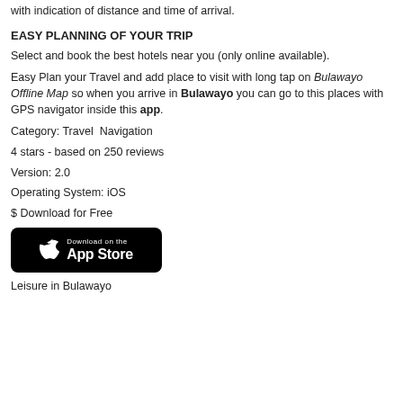with indication of distance and time of arrival.
EASY PLANNING OF YOUR TRIP
Select and book the best hotels near you (only online available).
Easy Plan your Travel and add place to visit with long tap on Bulawayo Offline Map so when you arrive in Bulawayo you can go to this places with GPS navigator inside this app.
Category: Travel  Navigation
4 stars - based on 250 reviews
Version: 2.0
Operating System: iOS
$ Download for Free
[Figure (logo): Download on the App Store badge - black rounded rectangle with Apple logo and text 'Download on the App Store']
Leisure in Bulawayo